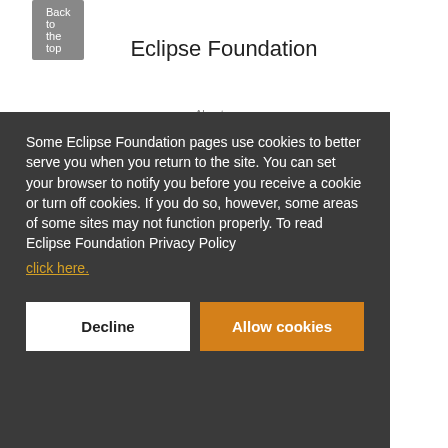Back to the top
Eclipse Foundation
Some Eclipse Foundation pages use cookies to better serve you when you return to the site. You can set your browser to notify you before you receive a cookie or turn off cookies. If you do so, however, some areas of some sites may not function properly. To read Eclipse Foundation Privacy Policy click here.
Decline
Allow cookies